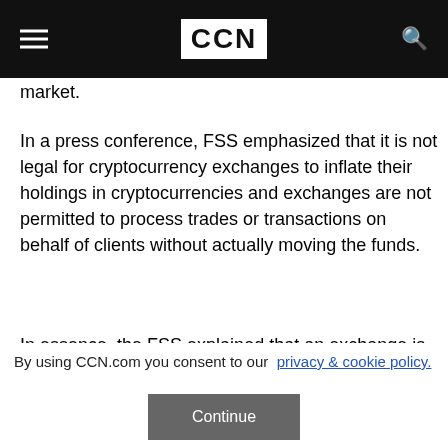CCN
market.
In a press conference, FSS emphasized that it is not legal for cryptocurrency exchanges to inflate their holdings in cryptocurrencies and exchanges are not permitted to process trades or transactions on behalf of clients without actually moving the funds.
In essence, the FSS explained that an exchange is
By using CCN.com you consent to our  privacy & cookie policy.
Continue